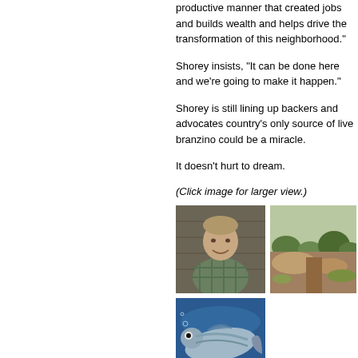productive manner that creates jobs and builds wealth and helps drive the transformation of this neighborhood."
Shorey insists, "It can be done here and we're going to make it happen."
Shorey is still lining up backers and advocates country's only source of live branzino could be a miracle.
It doesn't hurt to dream.
(Click image for larger view.)
[Figure (photo): Man in plaid shirt smiling, standing indoors]
[Figure (photo): Outdoor land/construction site with dirt mounds and green grass]
[Figure (photo): Close-up of a fish (branzino) underwater with blue background]